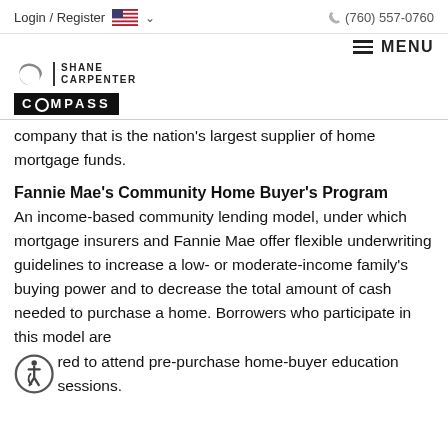Login / Register  🇺🇸 ∨   (760) 557-0760
[Figure (logo): Shane Carpenter Compass real estate logo with hamburger menu and MENU label]
company that is the nation's largest supplier of home mortgage funds.
Fannie Mae's Community Home Buyer's Program
An income-based community lending model, under which mortgage insurers and Fannie Mae offer flexible underwriting guidelines to increase a low- or moderate-income family's buying power and to decrease the total amount of cash needed to purchase a home. Borrowers who participate in this model are required to attend pre-purchase home-buyer education sessions.